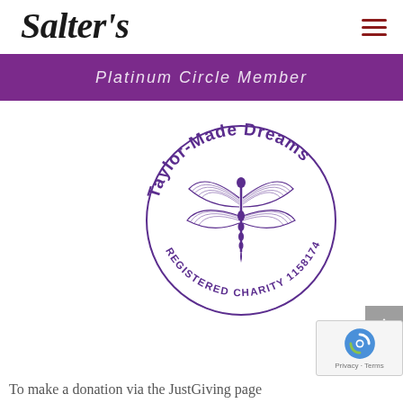Salter's
Platinum Circle Member
[Figure (logo): Taylor-Made Dreams circular logo with dragonfly illustration and text 'Taylor-Made Dreams REGISTERED CHARITY 1158174' in purple ink stamp style]
To make a donation via the JustGiving page